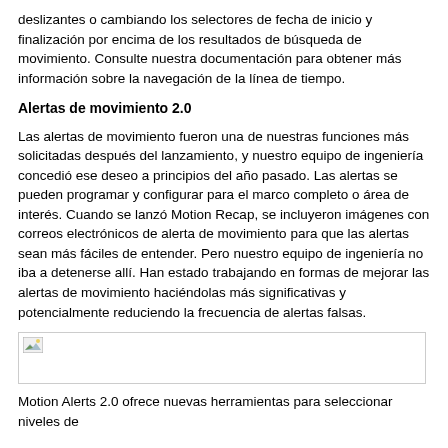deslizantes o cambiando los selectores de fecha de inicio y finalización por encima de los resultados de búsqueda de movimiento. Consulte nuestra documentación para obtener más información sobre la navegación de la línea de tiempo.
Alertas de movimiento 2.0
Las alertas de movimiento fueron una de nuestras funciones más solicitadas después del lanzamiento, y nuestro equipo de ingeniería concedió ese deseo a principios del año pasado. Las alertas se pueden programar y configurar para el marco completo o área de interés. Cuando se lanzó Motion Recap, se incluyeron imágenes con correos electrónicos de alerta de movimiento para que las alertas sean más fáciles de entender. Pero nuestro equipo de ingeniería no iba a detenerse allí. Han estado trabajando en formas de mejorar las alertas de movimiento haciéndolas más significativas y potencialmente reduciendo la frecuencia de alertas falsas.
[Figure (photo): Placeholder image with broken image icon]
Motion Alerts 2.0 ofrece nuevas herramientas para seleccionar niveles de